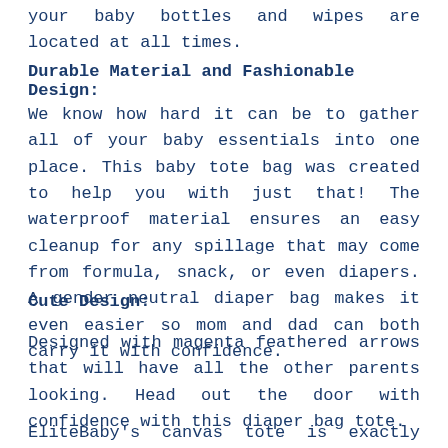your baby bottles and wipes are located at all times.
Durable Material and Fashionable Design:
We know how hard it can be to gather all of your baby essentials into one place. This baby tote bag was created to help you with just that! The waterproof material ensures an easy cleanup for any spillage that may come from formula, snack, or even diapers. A gender neutral diaper bag makes it even easier so mom and dad can both carry it with confidence.
Cute Design:
Designed with magenta feathered arrows that will have all the other parents looking. Head out the door with confidence with this diaper bag tote.
EliteBaby's canvas tote is exactly what every parent